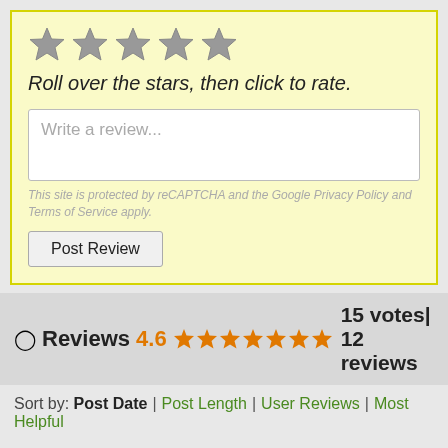[Figure (other): Five gray star icons for rating input]
Roll over the stars, then click to rate.
Write a review...
This site is protected by reCAPTCHA and the Google Privacy Policy and Terms of Service apply.
Post Review
Reviews 4.6 ★★★★★★★ 15 votes| 12 reviews
Sort by: Post Date | Post Length | User Reviews | Most Helpful
[Figure (other): Five orange star icons for a 5-star review]
Chris, Gregg and the gang at Pacific Cannabis Company are always friendly, knowledgeable, and helpful in assisting in finding the right strain, concentrate, or edible for my pain